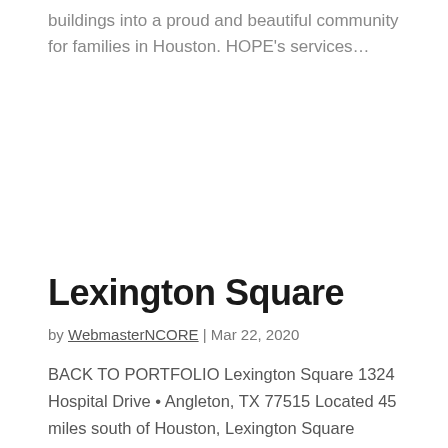buildings into a proud and beautiful community for families in Houston. HOPE's services...
Lexington Square
by WebmasterNCORE | Mar 22, 2020
BACK TO PORTFOLIO Lexington Square 1324 Hospital Drive • Angleton, TX 77515 Located 45 miles south of Houston, Lexington Square provides quality affordable housing and social services for the families of Angleton. National CORE completely...